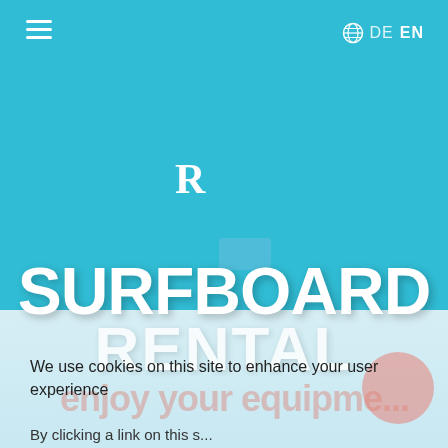[Figure (screenshot): Surfboard rental website screenshot with teal/cyan background, navigation menu icon top-left, globe with DE EN language selector top-right, large white R logo letter in center, blue rectangle element, large white SURFBOARD RENTAL text, cookie notice overlay, and background text in pink/salmon color.]
≡   DE  EN
SURFBOARD RENTAL
We use cookies on this site to enhance your user experience
By clicking a link on this s...